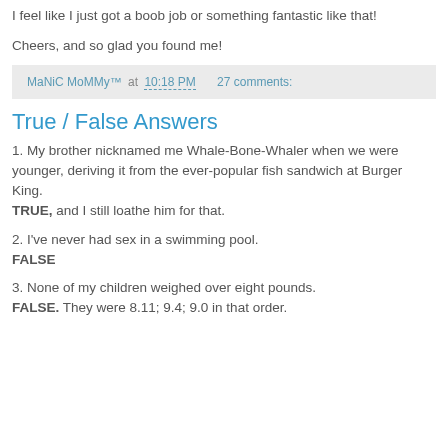I feel like I just got a boob job or something fantastic like that!
Cheers, and so glad you found me!
MaNiC MoMMy™ at 10:18 PM    27 comments:
True / False Answers
1. My brother nicknamed me Whale-Bone-Whaler when we were younger, deriving it from the ever-popular fish sandwich at Burger King.
TRUE, and I still loathe him for that.
2. I've never had sex in a swimming pool.
FALSE
3. None of my children weighed over eight pounds.
FALSE. They were 8.11; 9.4; 9.0 in that order.